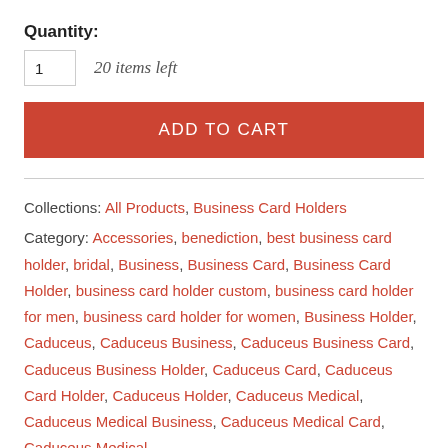Quantity:
1   20 items left
ADD TO CART
Collections: All Products, Business Card Holders
Category: Accessories, benediction, best business card holder, bridal, Business, Business Card, Business Card Holder, business card holder custom, business card holder for men, business card holder for women, Business Holder, Caduceus, Caduceus Business, Caduceus Business Card, Caduceus Business Holder, Caduceus Card, Caduceus Card Holder, Caduceus Holder, Caduceus Medical, Caduceus Medical Business, Caduceus Medical Card, Caduceus Medical